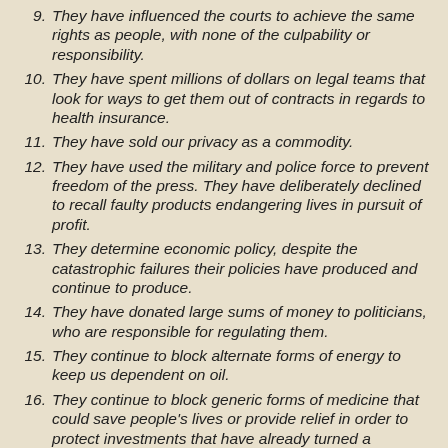9. They have influenced the courts to achieve the same rights as people, with none of the culpability or responsibility.
10. They have spent millions of dollars on legal teams that look for ways to get them out of contracts in regards to health insurance.
11. They have sold our privacy as a commodity.
12. They have used the military and police force to prevent freedom of the press. They have deliberately declined to recall faulty products endangering lives in pursuit of profit.
13. They determine economic policy, despite the catastrophic failures their policies have produced and continue to produce.
14. They have donated large sums of money to politicians, who are responsible for regulating them.
15. They continue to block alternate forms of energy to keep us dependent on oil.
16. They continue to block generic forms of medicine that could save people's lives or provide relief in order to protect investments that have already turned a